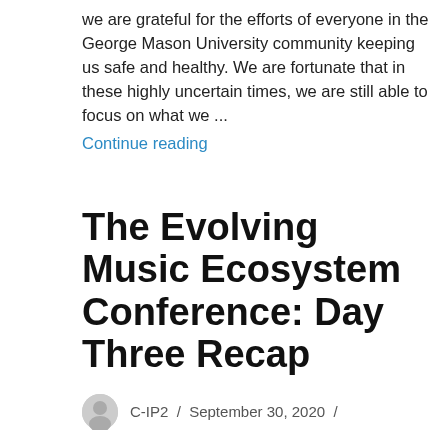we are grateful for the efforts of everyone in the George Mason University community keeping us safe and healthy. We are fortunate that in these highly uncertain times, we are still able to focus on what we ...
Continue reading
The Evolving Music Ecosystem Conference: Day Three Recap
C-IP2 / September 30, 2020 /
The following post comes from Bradfield Biggers, a graduate of Boston College Law School and Founder & CEO of Timshel Inc., a music fintech company that provides data-driven cashflow solutions to musical artists in Los Angeles, California. This is the third of